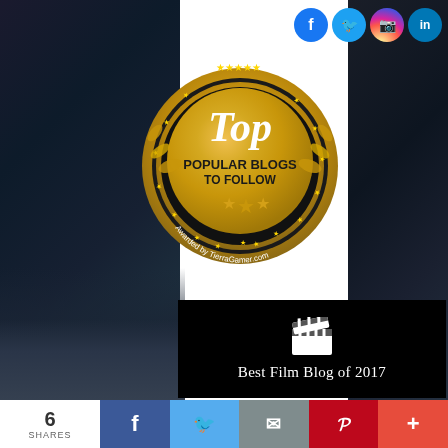[Figure (logo): Gold 'Top Popular Blogs To Follow' award badge/seal with stars, laurel wreath, and text 'Awarded by TierraGamer.com'. Three gold stars at bottom.]
[Figure (logo): Black card with film clapperboard icon and text 'Best Film Blog of 2017']
Best Film Blog of 2017
[Figure (infographic): Social media share bar with 6 SHARES count, Facebook, Twitter, Email, Pinterest, and More (+) buttons]
6
SHARES